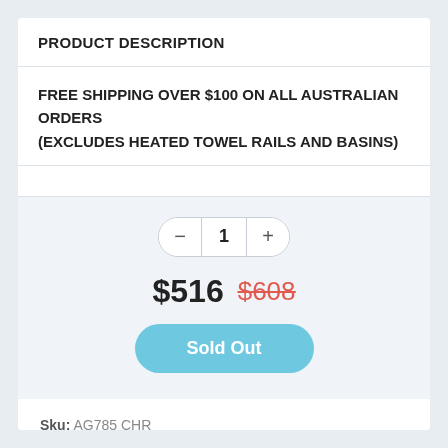PRODUCT DESCRIPTION
FREE SHIPPING OVER $100 ON ALL AUSTRALIAN ORDERS
(EXCLUDES HEATED TOWEL RAILS AND BASINS)
1
$516  $608
Sold Out
Sku: AG785 CHR
Vendor: Phoenix Tapware